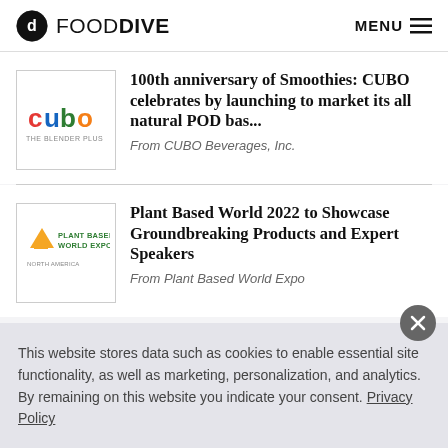FOOD DIVE   MENU
[Figure (logo): CUBO beverage brand logo in a square thumbnail]
100th anniversary of Smoothies: CUBO celebrates by launching to market its all natural POD bas...
From CUBO Beverages, Inc.
[Figure (logo): Plant Based World Expo logo in a square thumbnail]
Plant Based World 2022 to Showcase Groundbreaking Products and Expert Speakers
From Plant Based World Expo
This website stores data such as cookies to enable essential site functionality, as well as marketing, personalization, and analytics. By remaining on this website you indicate your consent. Privacy Policy